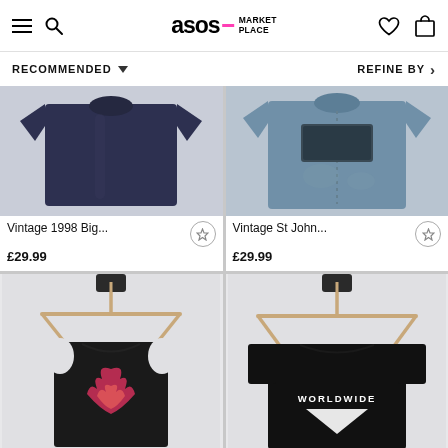ASOS MARKETPLACE
RECOMMENDED ▼
REFINE BY ›
[Figure (photo): Dark navy blue vintage t-shirt laid flat on light background]
Vintage 1998 Big...
£29.99
[Figure (photo): Faded blue vintage t-shirt with graphic print on chest, laid flat]
Vintage St John...
£29.99
[Figure (photo): Black sleeveless vest/t-shirt with pink flame graphic, on wooden hanger with black wall hook]
[Figure (photo): Black long-sleeve t-shirt with WORLDWIDE triangle graphic, on wooden hanger with black wall hook]